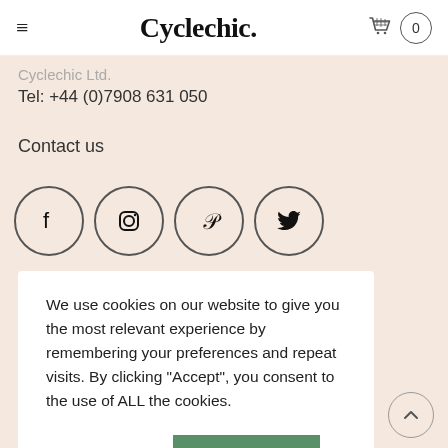Cyclechic. — navigation header with hamburger menu, brand name, cart icon and count 0
Cyclechic Ltd.
Tel: +44 (0)7908 631 050
Contact us
[Figure (infographic): Four circular social media icons: Facebook, Instagram, Pinterest, Twitter]
We use cookies on our website to give you the most relevant experience by remembering your preferences and repeat visits. By clicking “Accept”, you consent to the use of ALL the cookies.
Cookie settings   ACCEPT ALL
Exchange & returns information